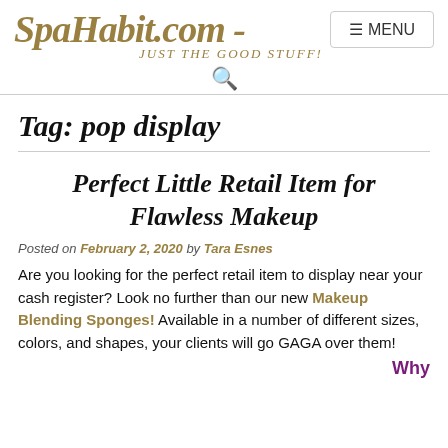SpaHabit.com - JUST THE GOOD STUFF!
Tag: pop display
Perfect Little Retail Item for Flawless Makeup
Posted on February 2, 2020 by Tara Esnes
Are you looking for the perfect retail item to display near your cash register? Look no further than our new Makeup Blending Sponges! Available in a number of different sizes, colors, and shapes, your clients will go GAGA over them!
Why